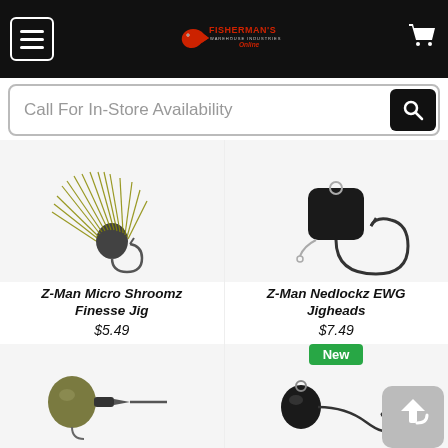Fisherman's Online - Call For In-Store Availability
[Figure (photo): Z-Man Micro Shroomz Finesse Jig product image showing a skirted jig with olive/gold strands]
Z-Man Micro Shroomz Finesse Jig
$5.49
[Figure (photo): Z-Man Nedlockz EWG Jigheads product image showing a black jig head with EWG hook]
Z-Man Nedlockz EWG Jigheads
$7.49
[Figure (photo): New product - jig head with keeper hook, olive/tan colored head with black arrow-shaped keeper]
[Figure (photo): New product - small black jig head with hook, partially visible; scroll-to-top button overlay]